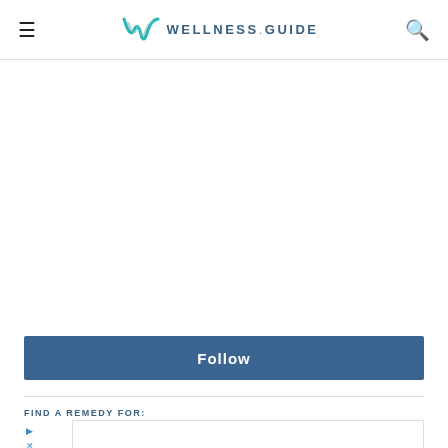WELLNESS.GUIDE
[Figure (other): Advertisement whitespace / blank area]
Follow
FIND A REMEDY FOR:
[Figure (other): Advertisement banner: Lidl - Suspiciously Low Prices]